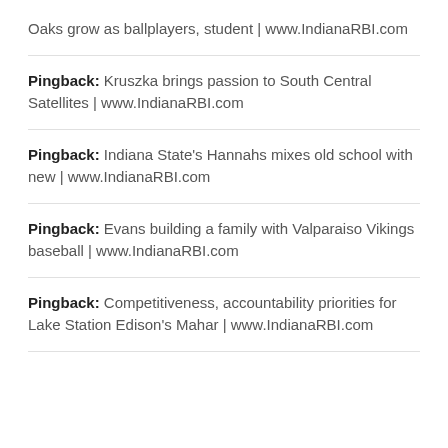Oaks grow as ballplayers, student | www.IndianaRBI.com
Pingback: Kruszka brings passion to South Central Satellites | www.IndianaRBI.com
Pingback: Indiana State's Hannahs mixes old school with new | www.IndianaRBI.com
Pingback: Evans building a family with Valparaiso Vikings baseball | www.IndianaRBI.com
Pingback: Competitiveness, accountability priorities for Lake Station Edison's Mahar | www.IndianaRBI.com